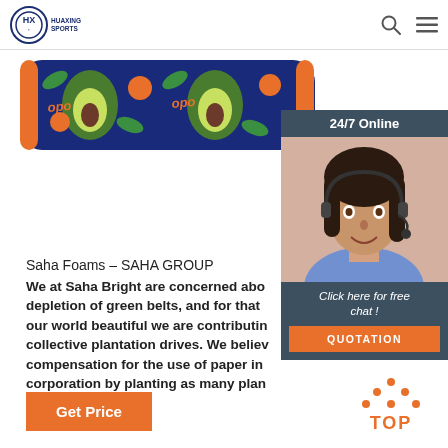HUAXING SPORTS — navigation with search and menu icons
[Figure (photo): Avocado-patterned pillow/bolster on dark blue background with orange and green avocado print]
[Figure (photo): 24/7 Online customer service chat widget with woman wearing headset, 'Click here for free chat!' text and QUOTATION button]
Saha Foams – SAHA GROUP
We at Saha Bright are concerned about the depletion of green belts, and for that to keep our world beautiful we are contributing in collective plantation drives. We believe compensation for the use of paper in corporation by planting as many plants as possible.
Get Price